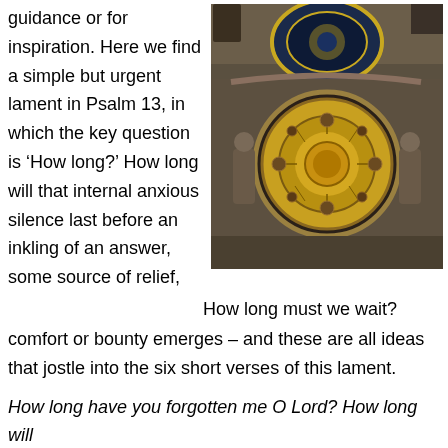guidance or for inspiration. Here we find a simple but urgent lament in Psalm 13, in which the key question is ‘How long?’ How long will that internal anxious silence last before an inkling of an answer, some source of relief,
[Figure (photo): Photograph of the Prague astronomical clock (Orloj), showing ornate stone facade with two clock faces, golden calendar dial, and decorative statues on either side.]
How long must we wait?
comfort or bounty emerges – and these are all ideas that jostle into the six short verses of this lament.
How long have you forgotten me O Lord? How long will you hide your face from me? (1)